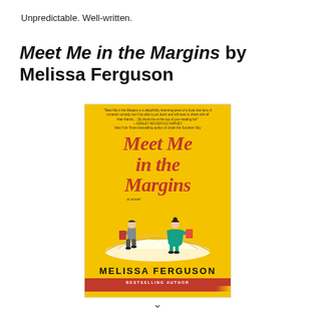Unpredictable. Well-written.
Meet Me in the Margins by Melissa Ferguson
[Figure (illustration): Book cover of 'Meet Me in the Margins' by Melissa Ferguson. Yellow background with illustrated characters — a man and a woman sitting back-to-back on top of an open book. The title is written in red cursive script. Bottom shows the author name 'MELISSA FERGUSON' in bold caps and a red 'BESTSELLING AUTHOR' banner. A pencil graphic runs along the bottom.]